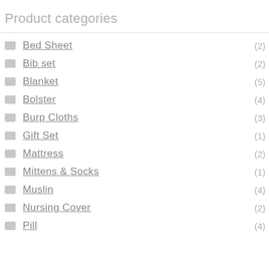Product categories
Bed Sheet (2)
Bib set (2)
Blanket (5)
Bolster (4)
Burp Cloths (3)
Gift Set (1)
Mattress (2)
Mittens & Socks (1)
Muslin (4)
Nursing Cover (2)
Pillow (4)